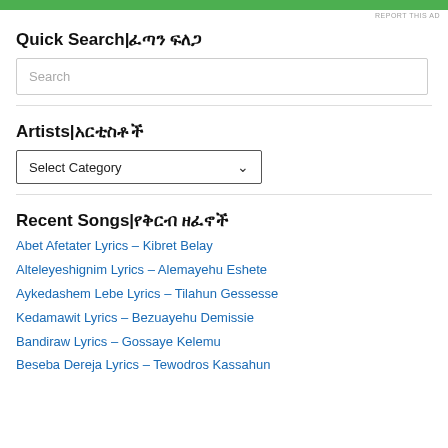[Figure (other): Green advertisement bar at top with 'REPORT THIS AD' text]
Quick Search|ፈጣን ፍለጋ
Search
Artists|አርቲስቶች
Select Category
Recent Songs|የቅርብ ዘፈኖች
Abet Afetater Lyrics – Kibret Belay
Alteleyeshignim Lyrics – Alemayehu Eshete
Aykedashem Lebe Lyrics – Tilahun Gessesse
Kedamawit Lyrics – Bezuayehu Demissie
Bandiraw Lyrics – Gossaye Kelemu
Beseba Dereja Lyrics – Tewodros Kassahun